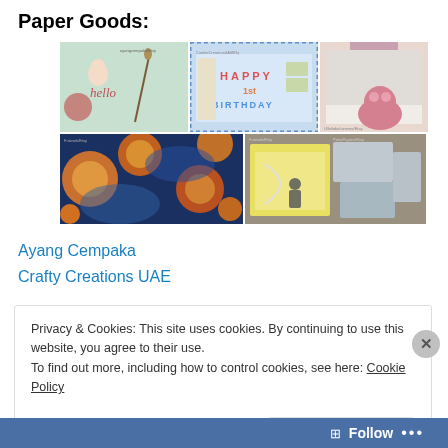Paper Goods:
[Figure (photo): Grid of 5 paper goods/card craft images from Etsy shops: watercolor illustration with 'hello', happy birthday letter board card game, textured hippo card, decorative floral patterned paper/fabric, and handmade greeting cards with embellishments.]
Ayang Cempaka
Crafty Creations UAE
Privacy & Cookies: This site uses cookies. By continuing to use this website, you agree to their use.
To find out more, including how to control cookies, see here: Cookie Policy
Close and accept
Follow ...